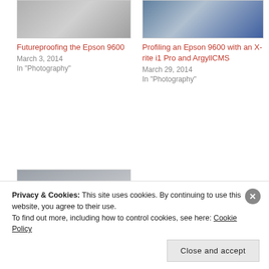[Figure (photo): Thumbnail of an old computer workstation with keyboard]
Futureproofing the Epson 9600
March 3, 2014
In "Photography"
[Figure (photo): Thumbnail of a person using a keyboard/scanner device]
Profiling an Epson 9600 with an X-rite i1 Pro and ArgyllCMS
March 29, 2014
In "Photography"
[Figure (photo): Thumbnail showing a DataColor Spyder 2 device being used for monitor calibration]
Getting the DataColor Spyder 2 to work with Mac OS X
Privacy & Cookies: This site uses cookies. By continuing to use this website, you agree to their use. To find out more, including how to control cookies, see here: Cookie Policy
Close and accept